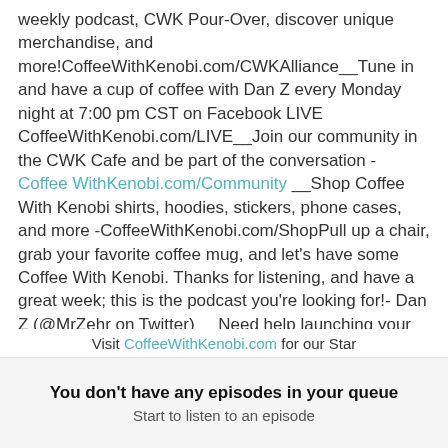weekly podcast, CWK Pour-Over, discover unique merchandise, and more!CoffeeWithKenobi.com/CWKAlliance__Tune in and have a cup of coffee with Dan Z every Monday night at 7:00 pm CST on Facebook LIVE CoffeeWithKenobi.com/LIVE__Join our community in the CWK Cafe and be part of the conversation - CoffeeWithKenobi.com/Community __Shop Coffee With Kenobi shirts, hoodies, stickers, phone cases, and more -CoffeeWithKenobi.com/ShopPull up a chair, grab your favorite coffee mug, and let's have some Coffee With Kenobi. Thanks for listening, and have a great week; this is the podcast you're looking for!- Dan Z (@MrZehr on Twitter) __Need help launching your podcast or blog? Want Dan Z to speak at your event? DanZMedia.com---------------------------------------------------------------------------
Visit CoffeeWithKenobi.com for our Star
You don't have any episodes in your queue
Start to listen to an episode